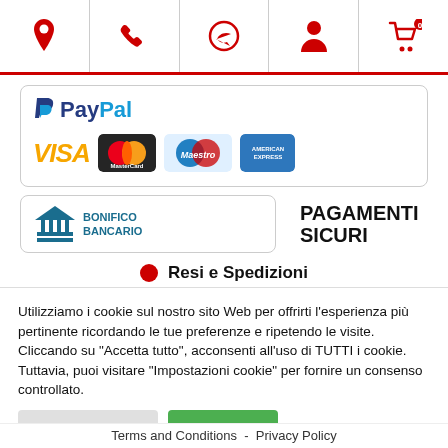[Figure (screenshot): Top navigation bar with icons: location pin, phone, WhatsApp, user account, shopping basket with 0 badge]
[Figure (logo): Payment methods box: PayPal logo, VISA, MasterCard, Maestro, American Express cards]
[Figure (logo): Bonifico Bancario (bank transfer) logo with building icon and text BONIFICO BANCARIO, plus PAGAMENTI SICURI text]
Resi e Spedizioni
Utilizziamo i cookie sul nostro sito Web per offrirti l'esperienza più pertinente ricordando le tue preferenze e ripetendo le visite. Cliccando su "Accetta tutto", acconsenti all'uso di TUTTI i cookie. Tuttavia, puoi visitare "Impostazioni cookie" per fornire un consenso controllato.
Terms and Conditions - Privacy Policy